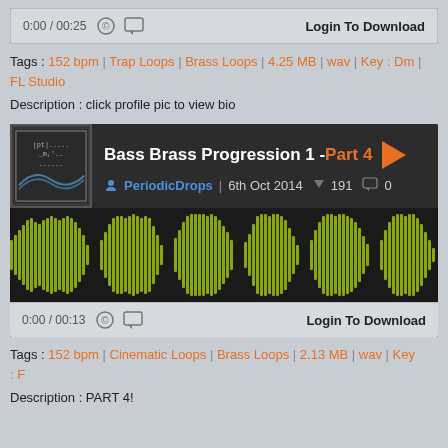0:00 / 00:25  [icons]  Login To Download
Tags : 152 bpm | Trap Loops | Brass Loops | 4.25 MB | wav | Key : Dm | FL Studio
Description : click profile pic to view bio
[Figure (screenshot): Audio player card showing Bass Brass Progression 1 - Part 4 by PeriodicDrops, dated 6th Oct 2014, with 191 votes and 0 comments, with yellow-green waveform visualization]
0:00 / 00:13  [icons]  Login To Download
Tags : 152 bpm | Cinematic Loops | Brass Loops | 2.13 MB | wav | Key : F
Description : PART 4!